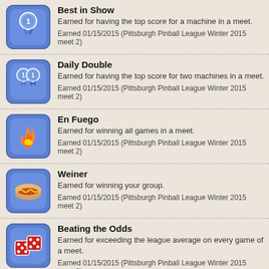Best in Show
Earned for having the top score for a machine in a meet.
Earned 01/15/2015 (Pittsburgh Pinball League Winter 2015 meet 2)
Daily Double
Earned for having the top score for two machines in a meet.
Earned 01/15/2015 (Pittsburgh Pinball League Winter 2015 meet 2)
En Fuego
Earned for winning all games in a meet.
Earned 01/15/2015 (Pittsburgh Pinball League Winter 2015 meet 2)
Weiner
Earned for winning your group.
Earned 01/15/2015 (Pittsburgh Pinball League Winter 2015 meet 2)
Beating the Odds
Earned for exceeding the league average on every game of a meet.
Earned 01/15/2015 (Pittsburgh Pinball League Winter 2015 meet 2)
Fifteen!
Earned for scoring 15 points in a meet!
Earned 01/15/2015 (Pittsburgh Pinball League Winter 2015 meet 2)